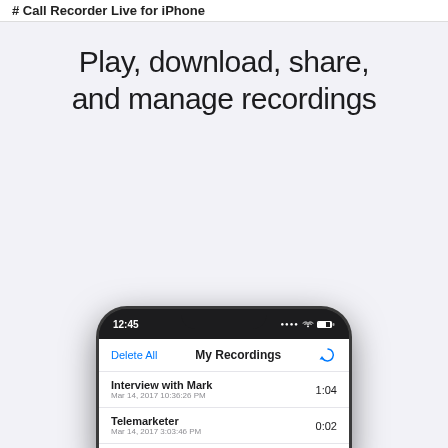# Call Recorder Live for iPhone
[Figure (screenshot): Promotional screenshot of Call Recorder Live app for iPhone showing 'Play, download, share, and manage recordings' text and a phone screenshot with My Recordings list including Interview with Mark (1:04), Telemarketer (0:02), and Convo w/ Dad (0:04)]